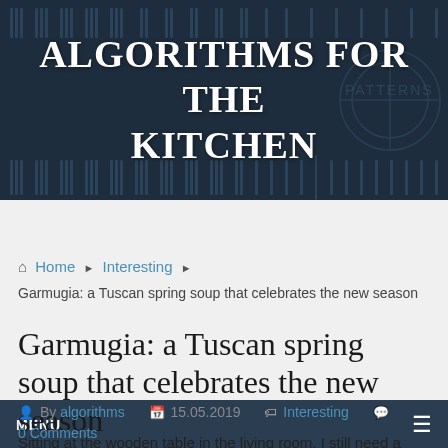ALGORITHMS FOR THE KITCHEN
MENU
Home ▶ Interesting ▶ Garmugia: a Tuscan spring soup that celebrates the new season
Garmugia: a Tuscan spring soup that celebrates the new season
By algorithms  15.05.2019  Interesting  0 Comments
Sitting at the wooden table in the living room, I still need a